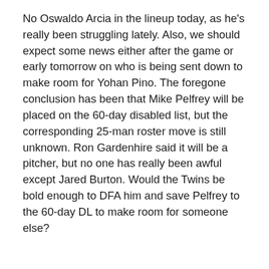No Oswaldo Arcia in the lineup today, as he's really been struggling lately. Also, we should expect some news either after the game or early tomorrow on who is being sent down to make room for Yohan Pino. The foregone conclusion has been that Mike Pelfrey will be placed on the 60-day disabled list, but the corresponding 25-man roster move is still unknown. Ron Gardenhire said it will be a pitcher, but no one has really been awful except Jared Burton. Would the Twins be bold enough to DFA him and save Pelfrey to the 60-day DL to make room for someone else?